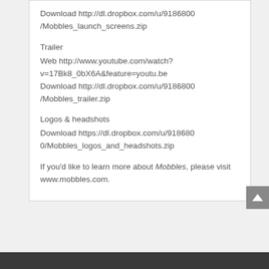Download http://dl.dropbox.com/u/9186800/Mobbles_launch_screens.zip
Trailer
Web http://www.youtube.com/watch?v=17Bk8_0bX6A&feature=youtu.be
Download http://dl.dropbox.com/u/9186800/Mobbles_trailer.zip
Logos & headshots
Download https://dl.dropbox.com/u/9186800/Mobbles_logos_and_headshots.zip
If you'd like to learn more about Mobbles, please visit www.mobbles.com.